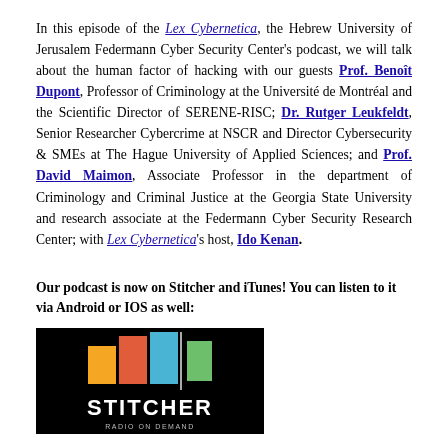In this episode of the Lex Cybernetica, the Hebrew University of Jerusalem Federmann Cyber Security Center's podcast, we will talk about the human factor of hacking with our guests Prof. Benoît Dupont, Professor of Criminology at the Université de Montréal and the Scientific Director of SERENE-RISC; Dr. Rutger Leukfeldt, Senior Researcher Cybercrime at NSCR and Director Cybersecurity & SMEs at The Hague University of Applied Sciences; and Prof. David Maimon, Associate Professor in the department of Criminology and Criminal Justice at the Georgia State University and research associate at the Federmann Cyber Security Research Center; with Lex Cybernetica's host, Ido Kenan.
Our podcast is now on Stitcher and iTunes! You can listen to it via Android or IOS as well:
[Figure (logo): Stitcher radio podcast app logo on black background with colored vertical bars (yellow, red, blue, green) and the word STITCHER in white]